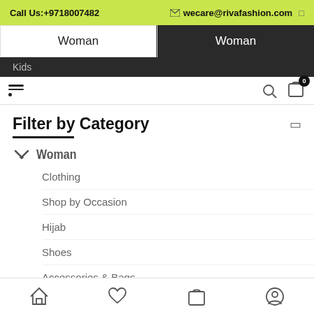Call Us:+9718007482 | wecare@rivafashion.com
Woman | Woman
Kids
Filter by Category
Woman
Clothing
Shop by Occasion
Hijab
Shoes
Accessories & Bags
Home | Wishlist | Cart | Account